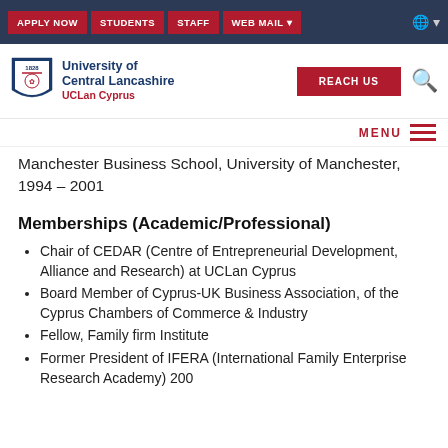APPLY NOW | STUDENTS | STAFF | WEB MAIL
[Figure (logo): University of Central Lancashire UCLan Cyprus shield logo with text]
Manchester Business School, University of Manchester, 1994 – 2001
Memberships (Academic/Professional)
Chair of CEDAR (Centre of Entrepreneurial Development, Alliance and Research) at UCLan Cyprus
Board Member of Cyprus-UK Business Association, of the Cyprus Chambers of Commerce & Industry
Fellow, Family firm Institute
Former President of IFERA (International Family Enterprise Research Academy) 200